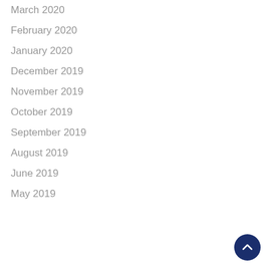March 2020
February 2020
January 2020
December 2019
November 2019
October 2019
September 2019
August 2019
June 2019
May 2019